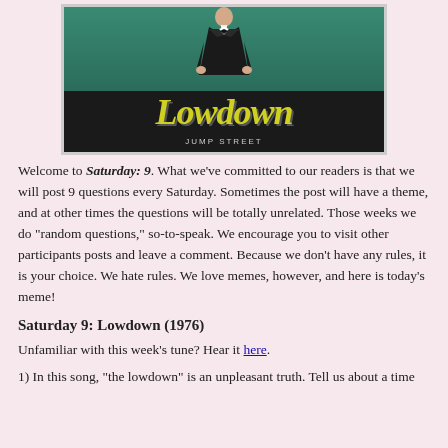[Figure (illustration): Album cover image for 'Lowdown' showing a man in a dark suit standing in front of a teal/green background. The word 'Lowdown' is written in large yellow-green italic script on a dark band across the lower portion. Below that reads 'JUMP STREET' in small caps.]
Welcome to Saturday: 9. What we've committed to our readers is that we will post 9 questions every Saturday. Sometimes the post will have a theme, and at other times the questions will be totally unrelated. Those weeks we do "random questions," so-to-speak. We encourage you to visit other participants posts and leave a comment. Because we don't have any rules, it is your choice. We hate rules. We love memes, however, and here is today's meme!
Saturday 9: Lowdown (1976)
Unfamiliar with this week's tune? Hear it here.
1) In this song, "the lowdown" is an unpleasant truth. Tell us about a time when you had to deliver bad news to someone.